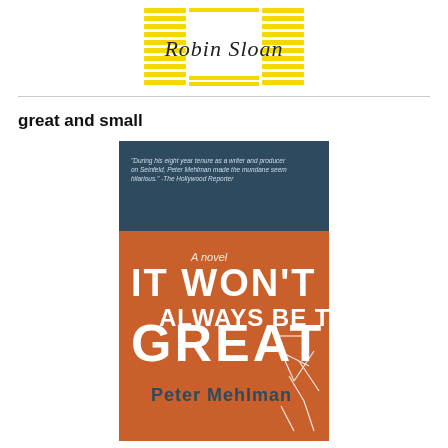[Figure (logo): Robin Sloan logo with yellow graphic pattern and handwritten-style text]
great and small
[Figure (photo): Book cover of 'It Won't Always Be This Great' by Peter Mehlman. Orange and dark teal cover with a city skyline silhouette. White large text reads 'IT WON'T ALWAYS BE THIS GREAT'. Smaller text says 'A novel'. Quote at top: 'During his eight year tenure as a writer and producer on Seinfeld, Peter Mehlman made the mundane seem hilarious.' -The Hollywood Reporter]